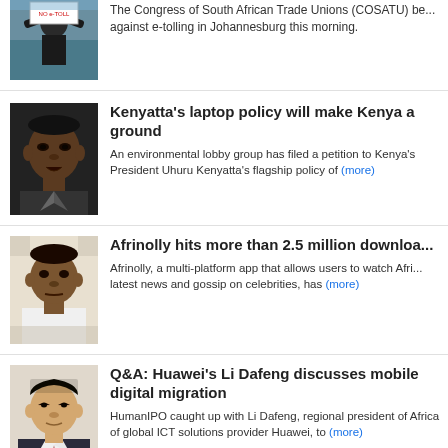[Figure (photo): Partial top news item photo — person holding sign at rally]
The Congress of South African Trade Unions (COSATU) be... against e-tolling in Johannesburg this morning.
[Figure (photo): Photo of Uhuru Kenyatta]
Kenyatta's laptop policy will make Kenya a ground
An environmental lobby group has filed a petition to Kenya's President Uhuru Kenyatta's flagship policy of (more)
[Figure (photo): Photo of a man — Afrinolly story]
Afrinolly hits more than 2.5 million downloa...
Afrinolly, a multi-platform app that allows users to watch Afri... latest news and gossip on celebrities, has (more)
[Figure (photo): Photo of Li Dafeng]
Q&A: Huawei's Li Dafeng discusses mobile digital migration
HumanIPO caught up with Li Dafeng, regional president of Africa of global ICT solutions provider Huawei, to (more)
[Figure (photo): Partial bottom news item photo]
Motorola to Release US assembled Smart...
Motorola is about to...